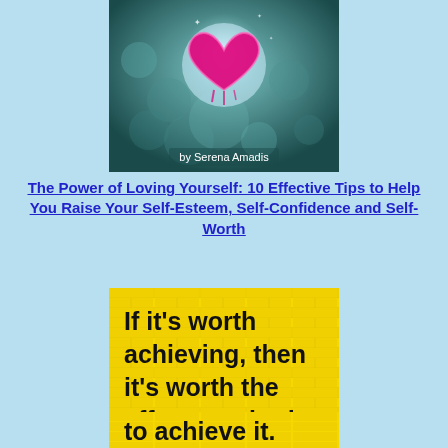[Figure (illustration): Book cover image with a glowing pink heart on a teal bokeh background, with text 'by Serena Amadis' in white at the bottom center]
The Power of Loving Yourself: 10 Effective Tips to Help You Raise Your Self-Esteem, Self-Confidence and Self-Worth
[Figure (illustration): Yellow brick-textured background with bold black text reading: If it's worth achieving, then it's worth the effort required to achieve it.]